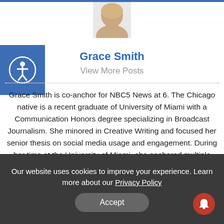[Figure (photo): Profile photo of Grace Smith, a woman with blonde hair, partial view at top of page]
[Figure (logo): Blue square accessibility icon with white wheelchair/person symbol]
Grace Smith
View More Posts
Grace Smith is co-anchor for NBC5 News at 6. The Chicago native is a recent graduate of University of Miami with a Communication Honors degree specializing in Broadcast Journalism. She minored in Creative Writing and focused her senior thesis on social media usage and engagement. During her time at the University of Miami, she anchored multiple award-winning student television programs, covering everything from music festivals to the Super Bowl. Though she loved Miami's beaches, she's thrilled to be in the Pacific Northwest where she can experience all four seasons and have a real Christmas tree! When she's not at work, you can find Grace glued to any television showing live sports (especially if it's the Chicago Bears) or attempting a
Our website uses cookies to improve your experience. Learn more about our Privacy Policy
Accept